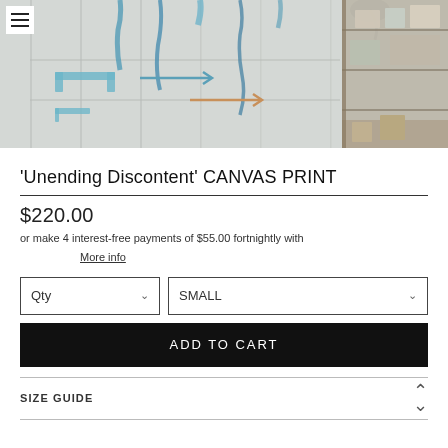[Figure (photo): Art studio photo showing a white wall with blue and black paint marks, arrows drawn in paint, and art supplies/shelving visible on the right side. Hamburger menu icon in upper left corner on white background.]
'Unending Discontent' CANVAS PRINT
$220.00
or make 4 interest-free payments of $55.00 fortnightly with
More info
Qty
SMALL
ADD TO CART
SIZE GUIDE